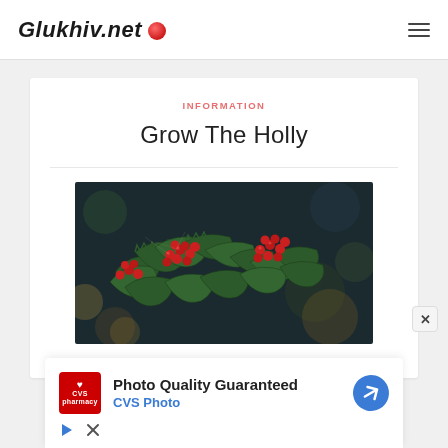Glukhiv.net
INFORMATION
Grow The Holly
[Figure (photo): Close-up photo of holly plant with red berries and green spiky leaves against a dark bokeh background]
[Figure (infographic): CVS Pharmacy advertisement banner with CVS logo, text 'Photo Quality Guaranteed' and 'CVS Photo', blue arrow icon, play button and close button controls]